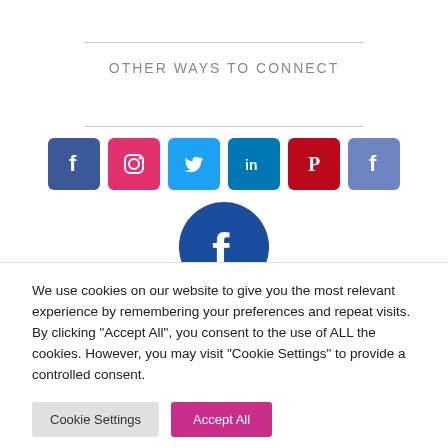OTHER WAYS TO CONNECT
[Figure (illustration): Row of six social media icon buttons: Facebook (blue), Instagram (pink/red), Twitter (light blue), LinkedIn (dark blue), Pinterest (dark red), Facebook variant (medium blue), followed by a large Facebook circle icon below]
We use cookies on our website to give you the most relevant experience by remembering your preferences and repeat visits. By clicking “Accept All”, you consent to the use of ALL the cookies. However, you may visit "Cookie Settings" to provide a controlled consent.
Cookie Settings | Accept All